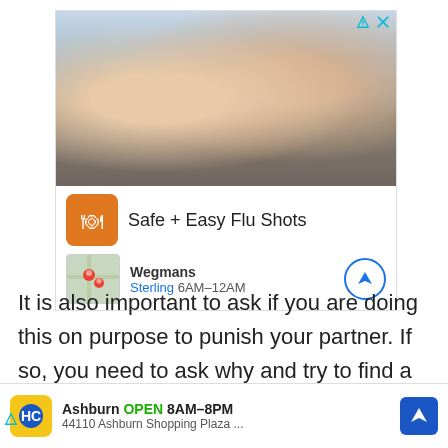[Figure (screenshot): Advertisement banner for Wegmans 'Safe + Easy Flu Shots' showing a photo of a pharmacist with a mother and child, Wegmans logo, store location details for Sterling 6AM-12AM with navigation button.]
It is also important to ask if you are doing this on purpose to punish your partner. If so, you need to ask why and try to find a more constructive way to
[Figure (screenshot): Advertisement banner for a business in Ashburn, OPEN 8AM-8PM, 44110 Ashburn Shopping Plaza, with HC logo and navigation arrow.]